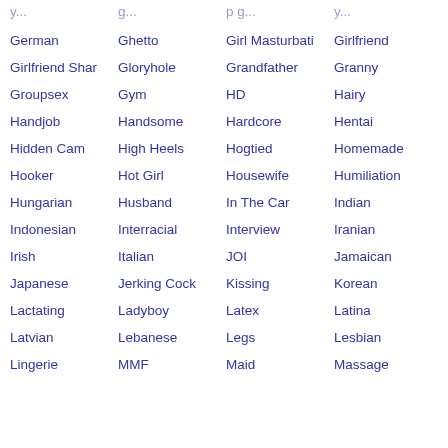German
Ghetto
Girl Masturbati
Girlfriend
Girlfriend Shar
Gloryhole
Grandfather
Granny
Groupsex
Gym
HD
Hairy
Handjob
Handsome
Hardcore
Hentai
Hidden Cam
High Heels
Hogtied
Homemade
Hooker
Hot Girl
Housewife
Humiliation
Hungarian
Husband
In The Car
Indian
Indonesian
Interracial
Interview
Iranian
Irish
Italian
JOI
Jamaican
Japanese
Jerking Cock
Kissing
Korean
Lactating
Ladyboy
Latex
Latina
Latvian
Lebanese
Legs
Lesbian
Lingerie
MMF
Maid
Massage